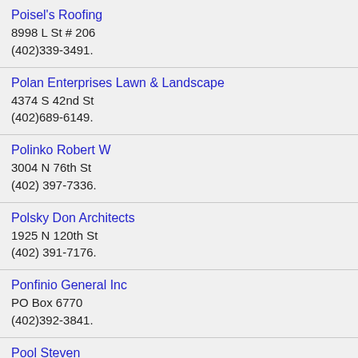Poisel's Roofing
8998 L St # 206
(402)339-3491.
Polan Enterprises Lawn & Landscape
4374 S 42nd St
(402)689-6149.
Polinko Robert W
3004 N 76th St
(402) 397-7336.
Polsky Don Architects
1925 N 120th St
(402) 391-7176.
Ponfinio General Inc
PO Box 6770
(402)392-3841.
Pool Steven
14010 Camden Ave
(402) 496-4776.